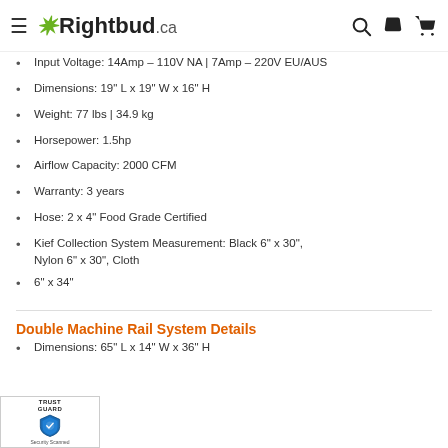≡ Rightbud.ca [search] [phone] [cart]
Input Voltage: 14Amp – 110V NA | 7Amp – 220V EU/AUS
Dimensions: 19" L x 19" W x 16" H
Weight: 77 lbs | 34.9 kg
Horsepower: 1.5hp
Airflow Capacity: 2000 CFM
Warranty: 3 years
Hose: 2 x 4" Food Grade Certified
Kief Collection System Measurement: Black 6" x 30", Nylon 6" x 30", Cloth
6" x 34"
Double Machine Rail System Details
Dimensions: 65" L x 14" W x 36" H